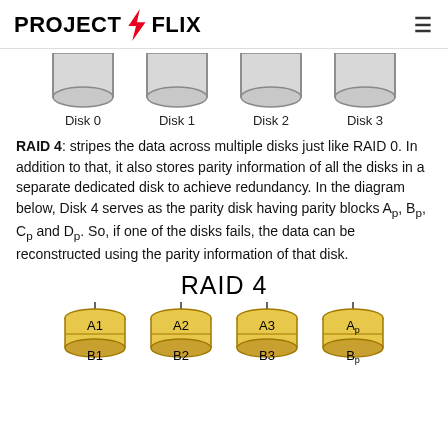PROJECTSFLIX
[Figure (engineering-diagram): Four gray disk cylinders labeled Disk 0, Disk 1, Disk 2, Disk 3 shown in a row representing RAID 0 striping]
RAID 4: stripes the data across multiple disks just like RAID 0. In addition to that, it also stores parity information of all the disks in a separate dedicated disk to achieve redundancy. In the diagram below, Disk 4 serves as the parity disk having parity blocks Ap, Bp, Cp and Dp. So, if one of the disks fails, the data can be reconstructed using the parity information of that disk.
[Figure (engineering-diagram): RAID 4 diagram showing four yellow disk cylinders with labels A1/B1, A2/B2, A3/B3, Ap/Bp connected by horizontal lines at top representing RAID 4 striping with parity disk]